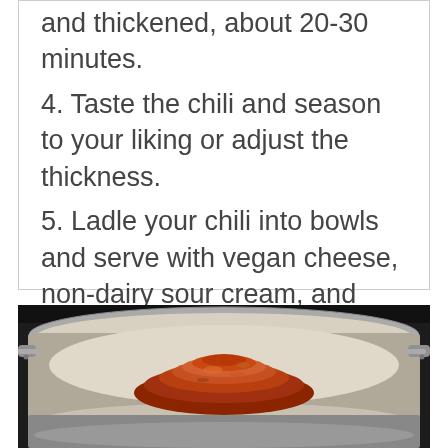and thickened, about 20-30 minutes.
4. Taste the chili and season to your liking or adjust the thickness.
5. Ladle your chili into bowls and serve with vegan cheese, non-dairy sour cream, and crispy tortilla chips.
[Figure (photo): A stainless steel pan on a stove with red spices (chili powder or paprika blend) piled in the center, viewed from above at an angle.]